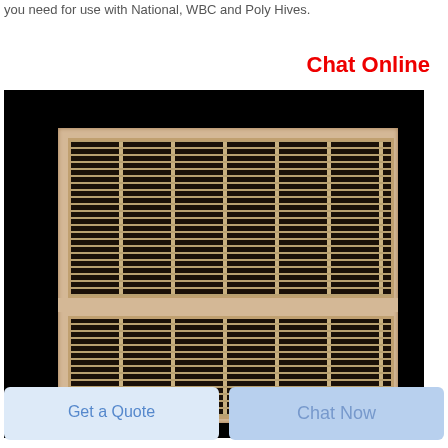you need for use with National, WBC and Poly Hives.
Chat Online
[Figure (photo): Photo of a wooden-framed queen excluder with metal mesh/grid showing two sections against a black background.]
Get a Quote
Chat Now